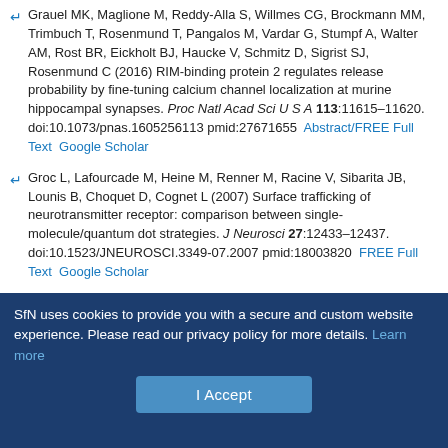Grauel MK, Maglione M, Reddy-Alla S, Willmes CG, Brockmann MM, Trimbuch T, Rosenmund T, Pangalos M, Vardar G, Stumpf A, Walter AM, Rost BR, Eickholt BJ, Haucke V, Schmitz D, Sigrist SJ, Rosenmund C (2016) RIM-binding protein 2 regulates release probability by fine-tuning calcium channel localization at murine hippocampal synapses. Proc Natl Acad Sci U S A 113:11615–11620. doi:10.1073/pnas.1605256113 pmid:27671655
Groc L, Lafourcade M, Heine M, Renner M, Racine V, Sibarita JB, Lounis B, Choquet D, Cognet L (2007) Surface trafficking of neurotransmitter receptor: comparison between single-molecule/quantum dot strategies. J Neurosci 27:12433–12437. doi:10.1523/JNEUROSCI.3349-07.2007 pmid:18003820
Hannan S, Gerrow K, Triller A, Smart TG (2016) Phospho-dependent accumulation of GABABRs at presynaptic terminals after NMDAR activation. Cell reports 16:1962–1973. doi:10.1016/j.celrep.2016.07.021 pmid:27498077
SfN uses cookies to provide you with a secure and custom website experience. Please read our privacy policy for more details. Learn more